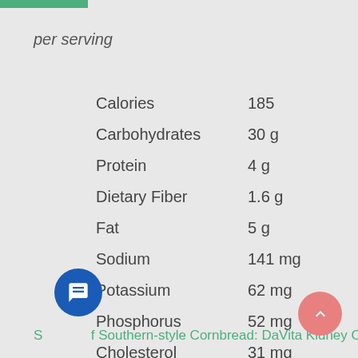per serving
| Nutrient | Amount |
| --- | --- |
| Calories | 185 |
| Carbohydrates | 30 g |
| Protein | 4 g |
| Dietary Fiber | 1.6 g |
| Fat | 5 g |
| Sodium | 141 mg |
| Potassium | 62 mg |
| Phosphorus | 52 mg |
| Cholesterol | 31 mg |
| Calcium | 8 mg |
Serving of Southern-style Cornbread: DaVita Kidney Care